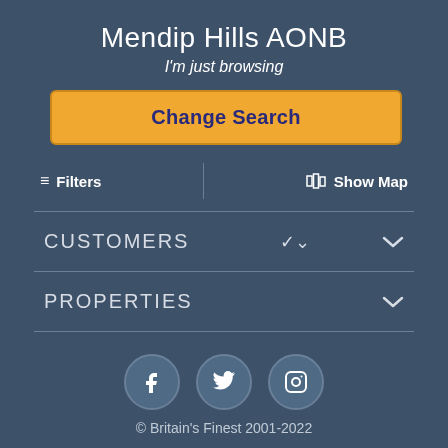Mendip Hills AONB
I'm just browsing
Change Search
≡ Filters
🗺 Show Map
CUSTOMERS
PROPERTIES
[Figure (illustration): Three social media icon circles: Facebook (f), Twitter (bird), Instagram (camera)]
© Britain's Finest 2001-2022